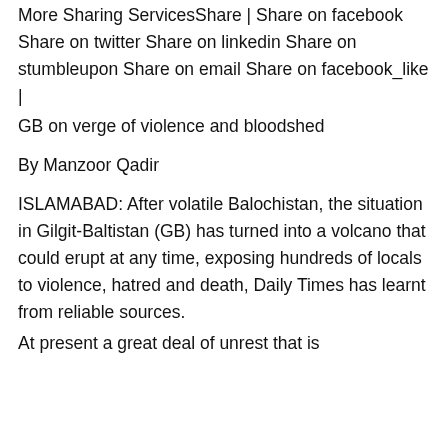More Sharing ServicesShare | Share on facebook Share on twitter Share on linkedin Share on stumbleupon Share on email Share on facebook_like |
GB on verge of violence and bloodshed
By Manzoor Qadir
ISLAMABAD: After volatile Balochistan, the situation in Gilgit-Baltistan (GB) has turned into a volcano that could erupt at any time, exposing hundreds of locals to violence, hatred and death, Daily Times has learnt from reliable sources.
At present a great deal of unrest that is